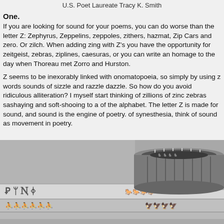U.S. Poet Laureate Tracy K. Smith
One.
If you are looking for sound for your poems, you can do worse than the letter Z: Zephyrus, Zeppelins, zeppoles, zithers, hazmat, Zip Cars and zero. Or zilch. When adding zing with Z's you have the opportunity for zeitgeist, zebras, ziplines, caesuras, or you can write an homage to the day when Thoreau met Zorro and Hurston.
Z seems to be inexorably linked with onomatopoeia, so simply by using z words you evoke sounds of sizzle and razzle dazzle. So how do you avoid ridiculous alliteration? I myself start thinking of zillions of zinc zebras sashaying and soft-shooing to a zydeco beat of the alphabet. The letter Z is made for sound, and sound is the engine of poetry. Instead of synesthesia, think of sound as movement in poetry.
[Figure (photo): Black and white photograph of a zoetrope drum device placed on top of illustrated animation strips depicting figures (wrestlers, horsemen, birds) in sequential motion, reminiscent of early animation techniques.]